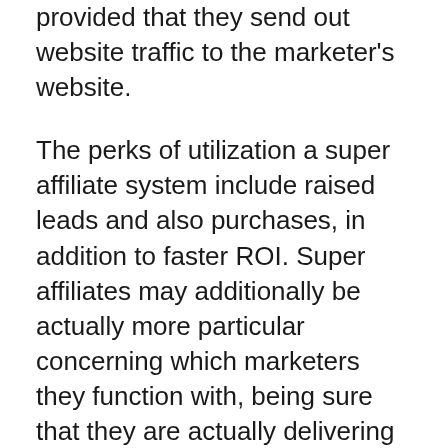provided that they send out website traffic to the marketer's website.
The perks of utilization a super affiliate system include raised leads and also purchases, in addition to faster ROI. Super affiliates may additionally be actually more particular concerning which marketers they function with, being sure that they are actually delivering visitor traffic to quality web sites.
The Super Affiliate System instruction system supports English, French, Spanish, German and Portuguese.
You will certainly locate instructions regarding Facebook Ads, Google Adds, Native